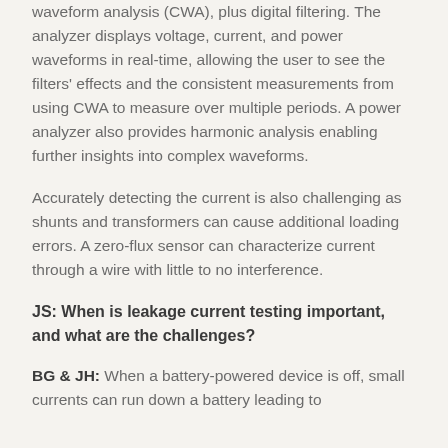waveform analysis (CWA), plus digital filtering. The analyzer displays voltage, current, and power waveforms in real-time, allowing the user to see the filters' effects and the consistent measurements from using CWA to measure over multiple periods. A power analyzer also provides harmonic analysis enabling further insights into complex waveforms.
Accurately detecting the current is also challenging as shunts and transformers can cause additional loading errors. A zero-flux sensor can characterize current through a wire with little to no interference.
JS: When is leakage current testing important, and what are the challenges?
BG & JH: When a battery-powered device is off, small currents can run down a battery leading to